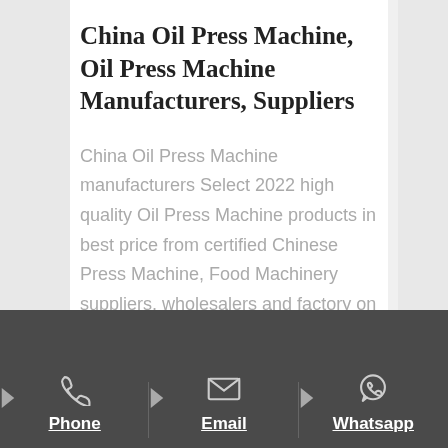China Oil Press Machine, Oil Press Machine Manufacturers, Suppliers
China Oil Press Machine manufacturers Select 2022 high quality Oil Press Machine products in best price from certified Chinese Press Machine, Food Machinery suppliers, wholesalers and factory on
Phone | Email | Whatsapp